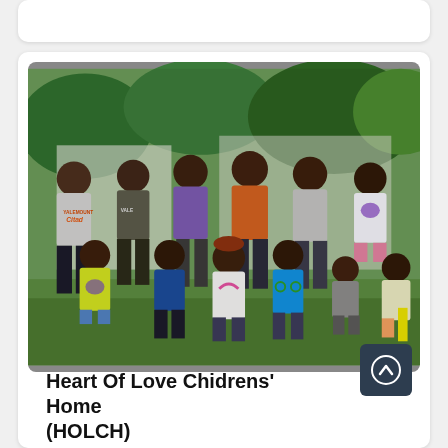[Figure (photo): Group photo of approximately 12 African children of various ages, outdoors, smiling at the camera. Some wear branded t-shirts including 'YALEMOUNT' and 'VALE'. Green trees and shrubs visible in the background.]
Heart Of Love Chidrens' Home (HOLCH)